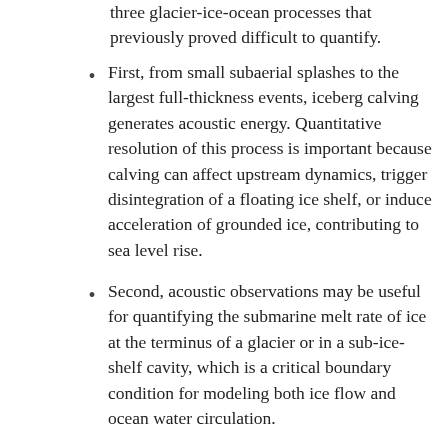three glacier-ice-ocean processes that previously proved difficult to quantify.
First, from small subaerial splashes to the largest full-thickness events, iceberg calving generates acoustic energy. Quantitative resolution of this process is important because calving can affect upstream dynamics, trigger disintegration of a floating ice shelf, or induce acceleration of grounded ice, contributing to sea level rise.
Second, acoustic observations may be useful for quantifying the submarine melt rate of ice at the terminus of a glacier or in a sub-ice-shelf cavity, which is a critical boundary condition for modeling both ice flow and ocean water circulation.
Finally, acoustic measurements have potential to resolve variability in